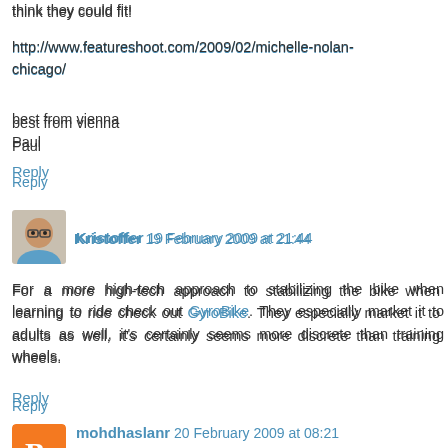think they could fit!
http://www.featureshoot.com/2009/02/michelle-nolan-chicago/
best from vienna
Paul
Reply
Kristoffer 19 February 2009 at 21:44
For a more high-tech approach to stabilizing the bike when learning to ride check out GyroBike. They especially market it to adults as well, it's certainly seems more discrete than training wheels.
Reply
mohdhaslanr 20 February 2009 at 08:21
sir
what is the rate of stolen bike during daytime and bike